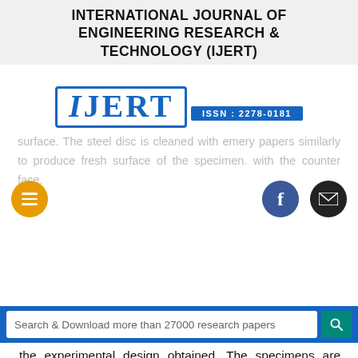INTERNATIONAL JOURNAL OF ENGINEERING RESEARCH & TECHNOLOGY (IJERT)
[Figure (logo): IJERT logo with blue border showing 'IJERT' text and ISSN: 2278-0181 bar]
surface. The steel disc is cleaned with emery papers similarly to produce fresh surface of the specimen. with the counter face.
Search & Download more than 27000 research papers
The experiments are performed as per the experimental design obtained. The specimens are measured for its mass before and after each experiment to predict the mass loss and Al-Gr and Sic is, better properties were obtained up to 1%
of Graphite and 1% of Alumina in the Al matrix and the Nano size of